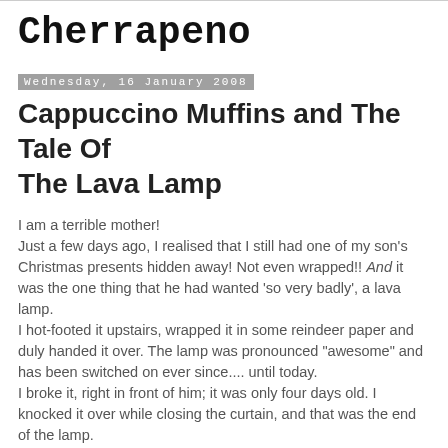Cherrapeno
Wednesday, 16 January 2008
Cappuccino Muffins and The Tale Of The Lava Lamp
I am a terrible mother!
Just a few days ago, I realised that I still had one of my son's Christmas presents hidden away! Not even wrapped!! And it was the one thing that he had wanted 'so very badly', a lava lamp.
I hot-footed it upstairs, wrapped it in some reindeer paper and duly handed it over. The lamp was pronounced "awesome" and has been switched on ever since.... until today.
I broke it, right in front of him; it was only four days old. I knocked it over while closing the curtain, and that was the end of the lamp.